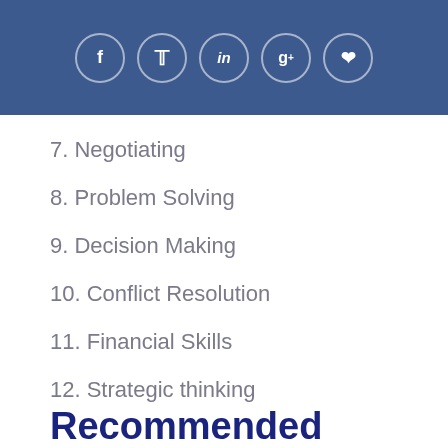[Figure (other): Social media icon bar with Facebook, Twitter, LinkedIn, Google+, and Pinterest circle icons on dark blue background]
7. Negotiating
8. Problem Solving
9. Decision Making
10. Conflict Resolution
11. Financial Skills
12. Strategic thinking
Recommended